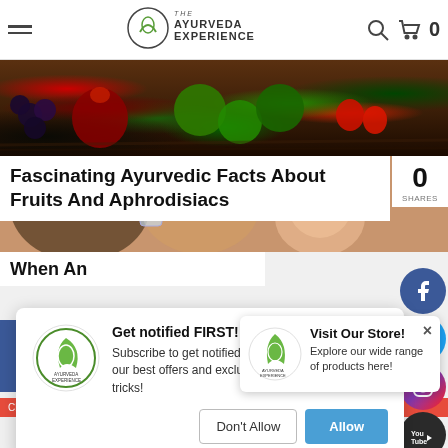The Ayurveda Experience — navigation bar with hamburger menu, logo, search icon, and cart (0)
[Figure (photo): Hero banner image showing colorful fruits including pomegranate, grapes, limes, strawberries on a wooden surface]
Fascinating Ayurvedic Facts About Fruits And Aphrodisiacs
0 SHARES
[Figure (infographic): Social sharing sidebar with circular buttons: Facebook (blue), Twitter (light blue), Instagram (pink/purple), YouTube (dark), and green button]
[Figure (screenshot): Browser notification popup with Ayurveda Experience logo. Title: Get notified FIRST! [For Free!]. Body: Subscribe to get notified for new product launches, our best offers and exclusive Ayurvedic tips and tricks! Buttons: Don't Allow | Allow]
[Figure (photo): Partial hero image of a smiling woman holding a drink]
When An
[Figure (screenshot): Store popup banner with Ayurveda Experience logo. Title: Visit Our Store! Body: Explore our wide range of products here! X close button.]
Charak Samhita compares water to nectar. It is an Ayurvedic...